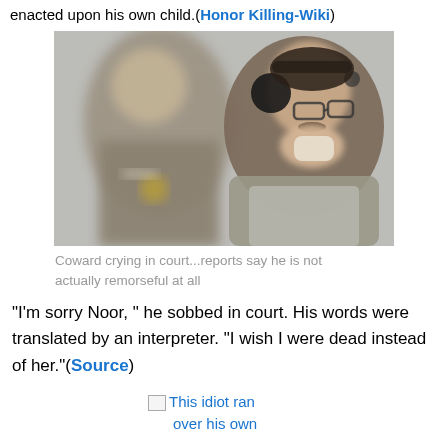enacted upon his own child.(Honor Killing-Wiki)
[Figure (photo): Man wearing headphones wiping his face with a tissue/cloth in a courtroom setting, with a uniformed officer blurred in the background.]
Coward crying in court...reports say he is not actually remorseful at all
“I’m sorry Noor, ” he sobbed in court. His words were translated by an interpreter. “I wish I were dead instead of her.”(Source)
[Figure (photo): Broken image placeholder with alt text: This idiot ran over his own]